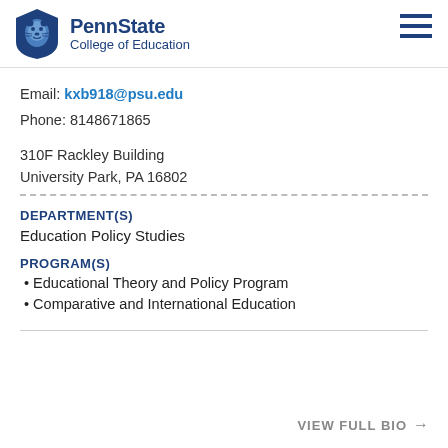PennState College of Education
Email: kxb918@psu.edu
Phone: 8148671865
310F Rackley Building
University Park, PA 16802
DEPARTMENT(S)
Education Policy Studies
PROGRAM(S)
Educational Theory and Policy Program
Comparative and International Education
VIEW FULL BIO →